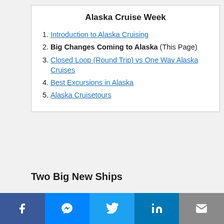Alaska Cruise Week
Introduction to Alaska Cruising
Big Changes Coming to Alaska (This Page)
Closed Loop (Round Trip) vs One Way Alaska Cruises
Best Excursions in Alaska
Alaska Cruisetours
Two Big New Ships
[Figure (photo): Photo of ships partially visible at bottom of page]
Social share bar: Facebook, Messenger, Twitter, LinkedIn, Email